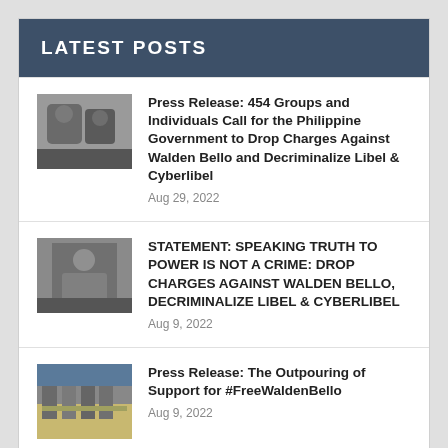LATEST POSTS
[Figure (photo): Photo of people, appears to show individuals at an event]
Press Release: 454 Groups and Individuals Call for the Philippine Government to Drop Charges Against Walden Bello and Decriminalize Libel & Cyberlibel
Aug 29, 2022
[Figure (photo): Photo of a person at what appears to be an indoor setting]
STATEMENT: SPEAKING TRUTH TO POWER IS NOT A CRIME: DROP CHARGES AGAINST WALDEN BELLO, DECRIMINALIZE LIBEL & CYBERLIBEL
Aug 9, 2022
[Figure (photo): Photo of people outdoors, appears to be a street or outdoor gathering]
Press Release: The Outpouring of Support for #FreeWaldenBello
Aug 9, 2022